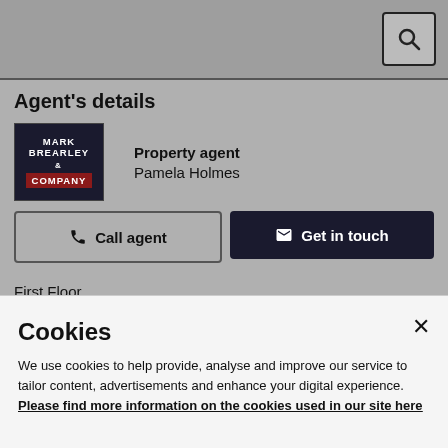Agent's details
[Figure (logo): Mark Brearley & Company logo — dark navy background with white text 'MARK BREARLEY' and red bar reading 'COMPANY']
Property agent
Pamela Holmes
Call agent
Get in touch
First Floor
Former Children's Play Area 38.85 sqm (418 sqft)
Cookies
We use cookies to help provide, analyse and improve our service to tailor content, advertisements and enhance your digital experience. Please find more information on the cookies used in our site here